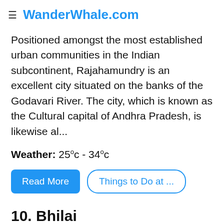≡ WanderWhale.com
Positioned amongst the most established urban communities in the Indian subcontinent, Rajahamundry is an excellent city situated on the banks of the Godavari River. The city, which is known as the Cultural capital of Andhra Pradesh, is likewise al...
Weather: 25°c - 34°c
Read More  Things to Do at ...
10. Bhilai
347 kilometres from Kotapad